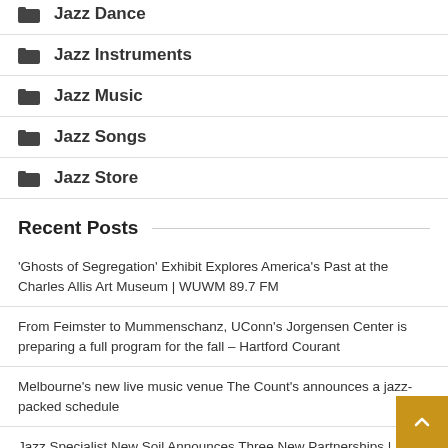Jazz Dance
Jazz Instruments
Jazz Music
Jazz Songs
Jazz Store
Recent Posts
'Ghosts of Segregation' Exhibit Explores America's Past at the Charles Allis Art Museum | WUWM 89.7 FM
From Feimster to Mummenschanz, UConn's Jorgensen Center is preparing a full program for the fall – Hartford Courant
Melbourne's new live music venue The Count's announces a jazz-packed schedule
Jazz Specialist New Soil Announces Three New Partnerships | Labels